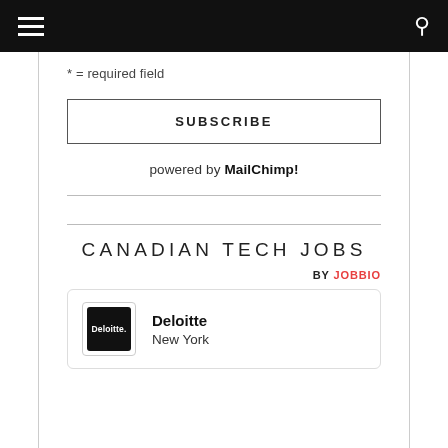* = required field
SUBSCRIBE
powered by MailChimp!
CANADIAN TECH JOBS
BY JOBBIO
Deloitte
New York